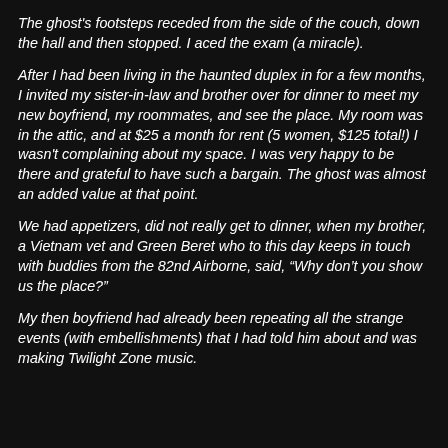The ghost's footsteps receded from the side of the couch, down the hall and then stopped. I aced the exam (a miracle).
After I had been living in the haunted duplex in for a few months, I invited my sister-in-law and brother over for dinner to meet my new boyfriend, my roommates, and see the place. My room was in the attic, and at $25 a month for rent (5 women, $125 total!) I wasn't complaining about my space. I was very happy to be there and grateful to have such a bargain. The ghost was almost an added value at that point.
We had appetizers, did not really get to dinner, when my brother, a Vietnam vet and Green Beret who to this day keeps in touch with buddies from the 82nd Airborne, said, “Why don’t you show us the place?”
My then boyfriend had already been repeating all the strange events (with embellishments) that I had told him about and was making Twilight Zone music.